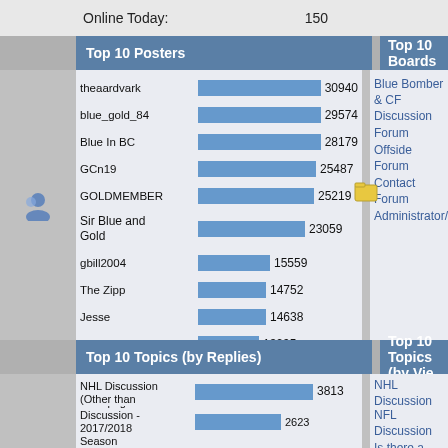Online Today: 150
Top 10 Posters
Top 10 Boards
[Figure (bar-chart): Top 10 Posters]
Top 10 Boards: Blue Bomber & CF Discussion Forum, Offside Forum, Contact Forum Administrator/Mods
Top 10 Topics (by Replies)
Top 10 Topics (by Views)
[Figure (bar-chart): Top 10 Topics (by Replies)]
Top 10 Topics (by Views): NHL Discussion (Other than Jets), Winnipeg Jets Discussion - 2017/2018 Season, NFL Discussion, Is there a better show on TV..., Blue Bombers roster 2019-2020, The GAMING Thread